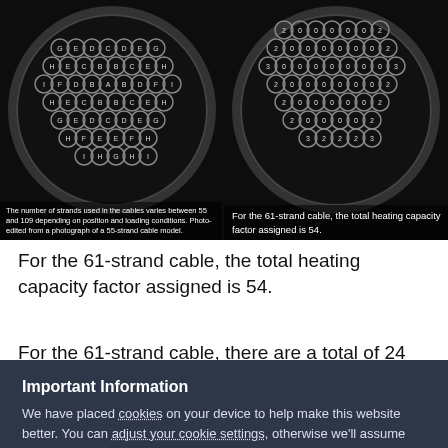[Figure (photo): Left photo of a multi-strand cable cross-section showing circular strands arranged in a hexagonal pattern with letters G,E,D,C,D,E,G / H,E,C,B,B,C,E,H / I,F,D,B,A,B,D,F,I / H,E,C,B,B,C,E,H / G,E,D,C,D,E,G / H,F,E,E,F,H / I,H,G,H,I labeling the strands. Dark background.]
The number of strands used in the cables varies between 55 and 109 depending on position and loading conditions. Photo-edited from a photograph of a 55-strand cable model.
[Figure (photo): Right photo of a multi-strand cable cross-section showing circular strands labeled with numbers: rows showing 2,0,0,0,0,0,2 / 2,0,0,0,0,0,2 / 3,0,0,0,0,0,0,3 / 2,0,0,0,0,0,2 / 2,0,0,0,0,2 / 2,0,0,0,0,2 / 3,2,2,2,3 representing heating capacity factors. Dark background.]
For the 61-strand cable, the total heating capacity factor assigned is 54.
For the 61-strand cable, the total heating capacity factor assigned is 54.
For the 61-strand cable, there are a total of 24 strands
Important Information
We have placed cookies on your device to help make this website better. You can adjust your cookie settings, otherwise we'll assume you're okay to continue.
✓  I accept